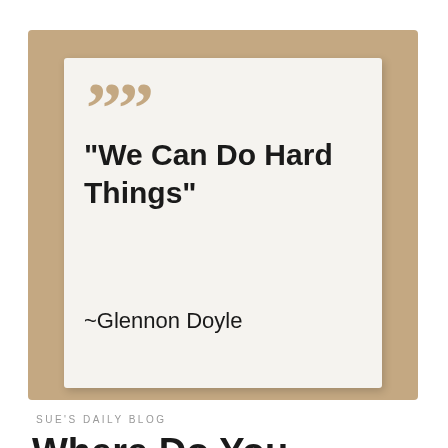[Figure (illustration): A quote card design: kraft paper brown background with a white card overlay. Large decorative quotation marks in tan/kraft color appear at top left. Quote text reads: "We Can Do Hard Things" ~Glennon Doyle in bold dark sans-serif font.]
SUE'S DAILY BLOG
Where Do You Stand?...